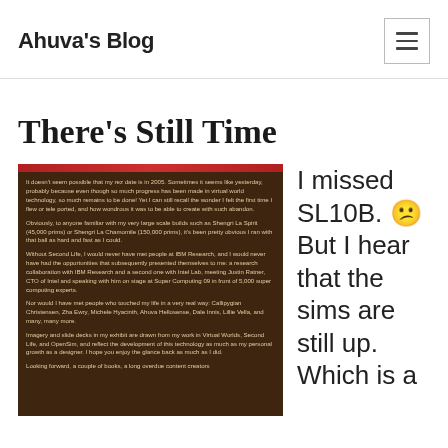Ahuva's Blog
There's Still Time
[Figure (screenshot): Screenshot of a blog post or exhibit text on a dark brown background, with multiple paragraphs discussing the author's experience with virtual worlds, Second Life, and mentioning names like Callipygian Christensen, Zha Ewry, Michele Hyacinth, Ahuva Hellosense, Dale Innis, Lillie Vella, and IBM Research collaboration.]
I missed SL10B. 😧 But I hear that the sims are still up. Which is a